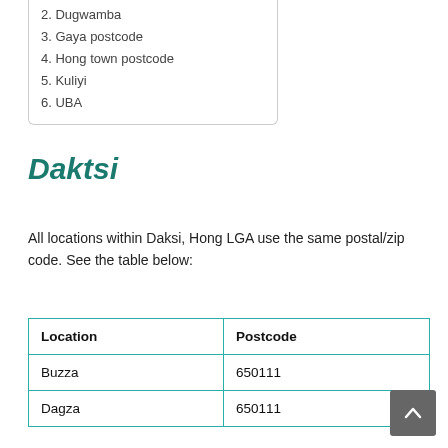2. Dugwamba
3. Gaya postcode
4. Hong town postcode
5. Kuliyi
6. UBA
Daktsi
All locations within Daksi, Hong LGA use the same postal/zip code. See the table below:
| Location | Postcode |
| --- | --- |
| Buzza | 650111 |
| Dagza | 650111 |